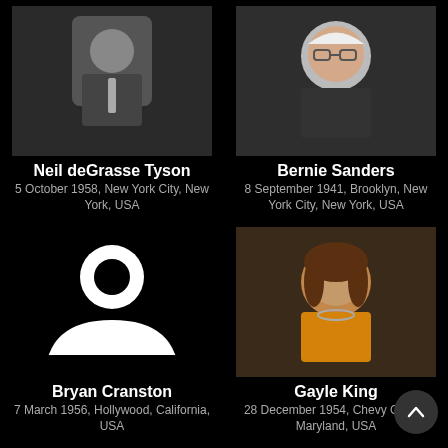[Figure (photo): Photo of Neil deGrasse Tyson in suit]
Neil deGrasse Tyson
5 October 1958, New York City, New York, USA
[Figure (photo): Photo of Bernie Sanders smiling]
Bernie Sanders
8 September 1941, Brooklyn, New York City, New York, USA
[Figure (illustration): Default avatar placeholder icon for Bryan Cranston]
Bryan Cranston
7 March 1956, Hollywood, California, USA
[Figure (photo): Photo of Gayle King smiling]
Gayle King
28 December 1954, Chevy Chase, Maryland, USA
[Figure (illustration): Default avatar placeholder icon for Jake Tapper]
Jake Tapper
12 March 1969, New York City, New York, USA
[Figure (illustration): Default avatar placeholder icon for John Dickerson]
John Dickerson